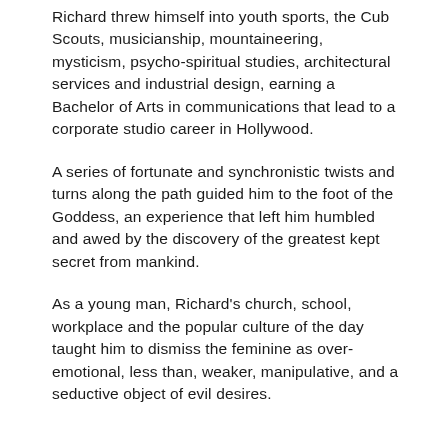Richard threw himself into youth sports, the Cub Scouts, musicianship, mountaineering, mysticism, psycho-spiritual studies, architectural services and industrial design, earning a Bachelor of Arts in communications that lead to a corporate studio career in Hollywood.
A series of fortunate and synchronistic twists and turns along the path guided him to the foot of the Goddess, an experience that left him humbled and awed by the discovery of the greatest kept secret from mankind.
As a young man, Richard's church, school, workplace and the popular culture of the day taught him to dismiss the feminine as over-emotional, less than, weaker, manipulative, and a seductive object of evil desires.